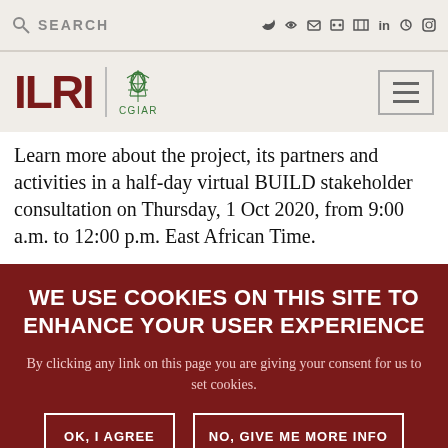SEARCH | social icons: f, Twitter, ghost, Flickr, YouTube, in, Pinterest, Instagram
[Figure (logo): ILRI CGIAR logo with hamburger menu button]
Learn more about the project, its partners and activities in a half-day virtual BUILD stakeholder consultation on Thursday, 1 Oct 2020, from 9:00 a.m. to 12:00 p.m. East African Time.
WE USE COOKIES ON THIS SITE TO ENHANCE YOUR USER EXPERIENCE
By clicking any link on this page you are giving your consent for us to set cookies.
OK, I AGREE | NO, GIVE ME MORE INFO